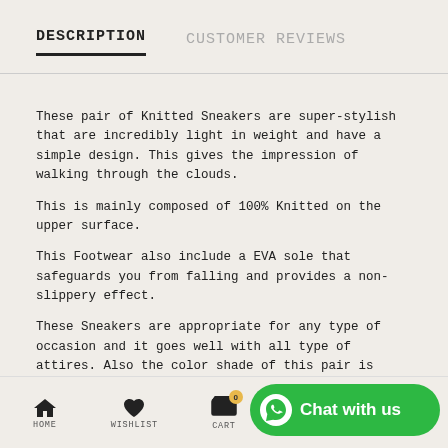DESCRIPTION
CUSTOMER REVIEWS
These pair of Knitted Sneakers are super-stylish that are incredibly light in weight and have a simple design. This gives the impression of walking through the clouds.
This is mainly composed of 100% Knitted on the upper surface.
This Footwear also include a EVA sole that safeguards you from falling and provides a non-slippery effect.
These Sneakers are appropriate for any type of occasion and it goes well with all type of attires. Also the color shade of this pair is tinted in such way that it matches every attire.
Product Details
A pair of round toe slip-on sneakers ,has regular styling
Slip-on detail
Mesh upper
HOME | WISHLIST | CART | SETTING | ON TOP